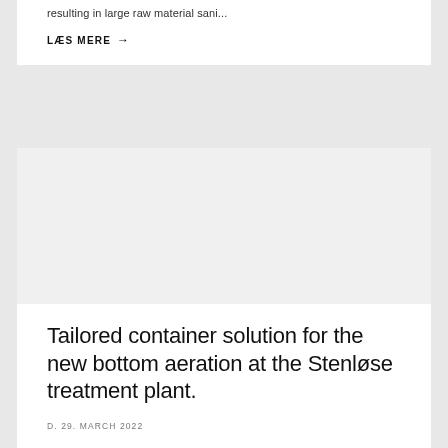resulting in large raw material sani...
LÆS MERE →
[Figure (photo): Image placeholder for Stenløse treatment plant article]
Tailored container solution for the new bottom aeration at the Stenløse treatment plant.
D. 29. MARCH 2022
On a commission for Novafos A/S with Krüger Veolia as the consultants, we have recently installed and started up